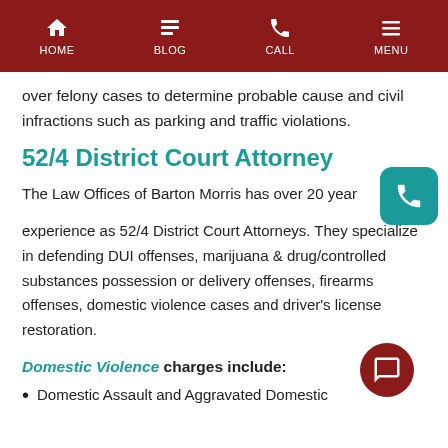HOME  BLOG  CALL  MENU
over felony cases to determine probable cause and civil infractions such as parking and traffic violations.
52/4 District Court Attorney
The Law Offices of Barton Morris has over 20 years experience as 52/4 District Court Attorneys. They specialize in defending DUI offenses, marijuana & drug/controlled substances possession or delivery offenses, firearms offenses, domestic violence cases and driver's license restoration.
Domestic Violence charges include:
Domestic Assault and Aggravated Domestic